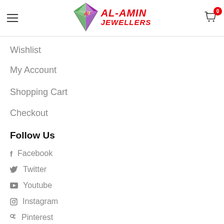[Figure (logo): Al-Amin Jewellers logo with diamond gem icon and red italic brand name text]
Wishlist
My Account
Shopping Cart
Checkout
Follow Us
Facebook
Twitter
Youtube
Instagram
Pinterest